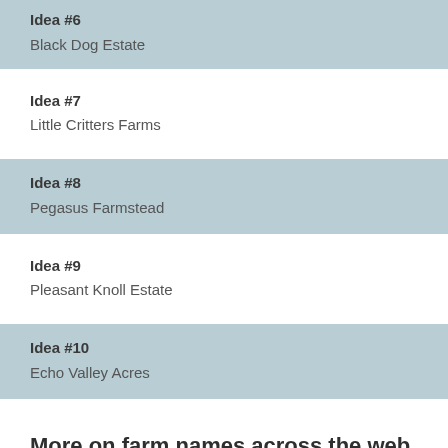Idea #6
Black Dog Estate
Idea #7
Little Critters Farms
Idea #8
Pegasus Farmstead
Idea #9
Pleasant Knoll Estate
Idea #10
Echo Valley Acres
More on farm names across the web